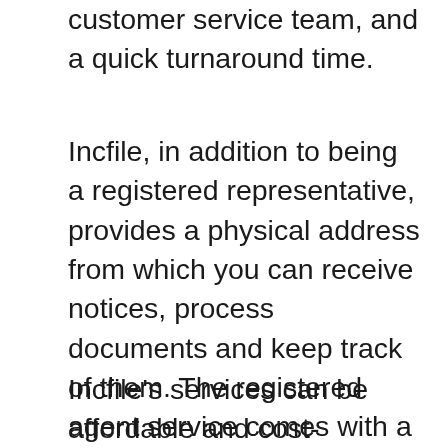customer service team, and a quick turnaround time.
Incfile, in addition to being a registered representative, provides a physical address from which you can receive notices, process documents and keep track of them. The registered agent service comes with a free one-year plan, but after that it costs $119 a year. During the first year, you can access the online dashboard of your registered agent at any time. You can also set up alerts to get updates on important dates, such as incorporation.
Incfile's services can be affordable and cost-effective for small businesses. Their services